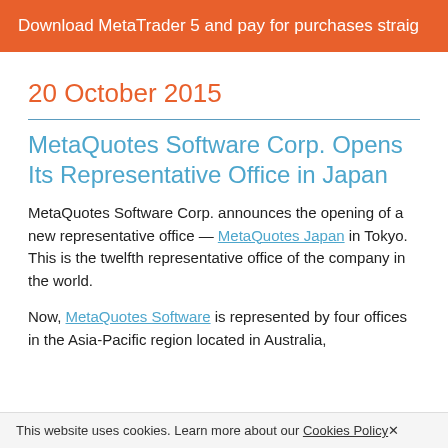Download MetaTrader 5 and pay for purchases straig
20 October 2015
MetaQuotes Software Corp. Opens Its Representative Office in Japan
MetaQuotes Software Corp. announces the opening of a new representative office — MetaQuotes Japan in Tokyo. This is the twelfth representative office of the company in the world.
Now, MetaQuotes Software is represented by four offices in the Asia-Pacific region located in Australia,
This website uses cookies. Learn more about our Cookies Policy ✕